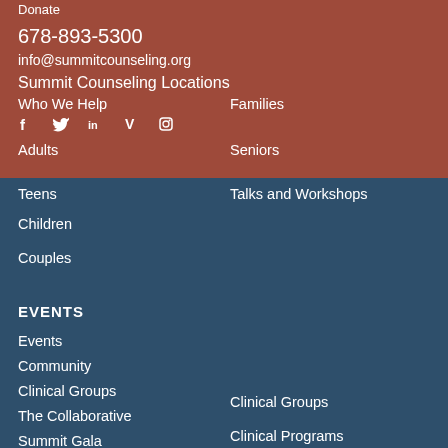Donate
678-893-5300
info@summitcounseling.org
Summit Counseling Locations
Who We Help
[Figure (other): Social media icons: Facebook, Twitter, LinkedIn, Vimeo, Instagram]
Families
Adults
Seniors
Teens
Talks and Workshops
Children
Clinical Groups
Couples
Clinical Programs
EVENTS
Events
Community
Clinical Groups
The Collaborative
Summit Gala
Summit Golf Classic
Summit Rocks
ABOUT SUMMIT COUNSELING